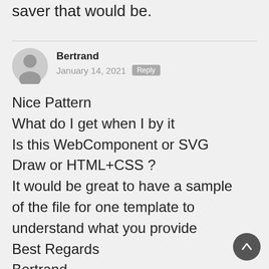saver that would be.
Bertrand
January 14, 2021
Nice Pattern
What do I get when I by it
Is this WebComponent or SVG
Draw or HTML+CSS ?
It would be great to have a sample of the file for one template to understand what you provide
Best Regards
Bertrand